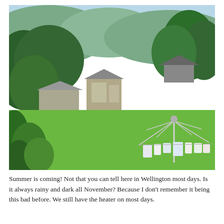[Figure (photo): Aerial view of a lush green garden with trees, a small greenhouse/shed structure with a person crouching nearby, a rotary clothesline with laundry hanging on it in the foreground right, green hills and sky in the background. Wellington, New Zealand setting.]
Summer is coming! Not that you can tell here in Wellington most days. Is it always rainy and dark all November? Because I don't remember it being this bad before. We still have the heater on most days.